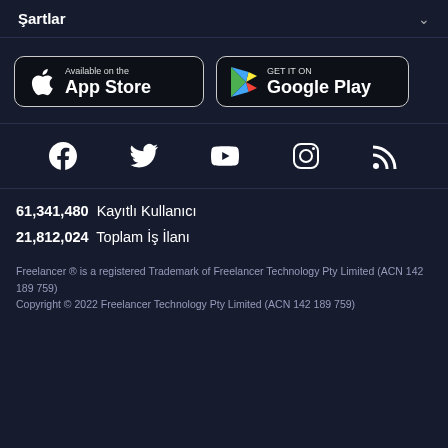Şartlar
[Figure (logo): Available on the App Store button]
[Figure (logo): GET IT ON Google Play button]
[Figure (other): Social media icons: Facebook, Twitter, YouTube, Instagram, RSS]
61,341,480  Kayıtlı Kullanıcı
21,812,024  Toplam İş İlanı
Freelancer ® is a registered Trademark of Freelancer Technology Pty Limited (ACN 142 189 759)
Copyright © 2022 Freelancer Technology Pty Limited (ACN 142 189 759)